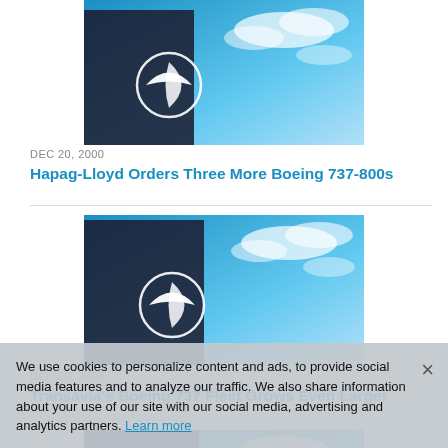[Figure (photo): Boeing building with logo against blue sky with clouds]
DEC 20, 2000
Hapag-Lloyd Orders Three More Boeing 737-800s
[Figure (photo): Boeing building with logo against blue sky with clouds]
DEC 20, 2000
Transavia's Boeing 737 Fleet Grows Even Larger
[Figure (photo): Boeing building with logo against blue sky with clouds (partially covered by cookie banner)]
DEC 20, 2000
Boeing Delivers Final AESA-Equipped F-15 Aircraft to U.S. Air Force
We use cookies to personalize content and ads, to provide social media features and to analyze our traffic. We also share information about your use of our site with our social media, advertising and analytics partners. Learn more